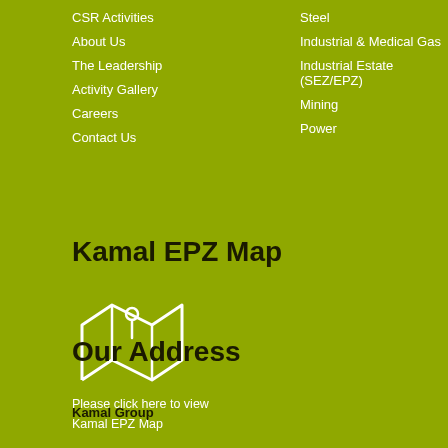CSR Activities
About Us
The Leadership
Activity Gallery
Careers
Contact Us
Steel
Industrial & Medical Gas
Industrial Estate (SEZ/EPZ)
Mining
Power
Kamal EPZ Map
[Figure (illustration): Map icon with location pin on an open folded map outline]
Please click here to view Kamal EPZ Map
Our Address
Kamal Group